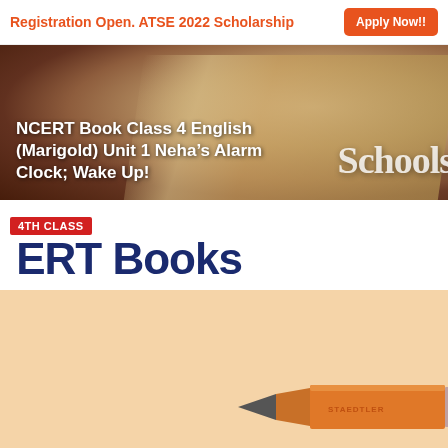Registration Open. ATSE 2022 Scholarship   Apply Now!!
[Figure (photo): Hero banner showing NCERT book pages with brown/golden tones and 'Schools' text overlay on the right side]
NCERT Book Class 4 English (Marigold) Unit 1 Neha's Alarm Clock; Wake Up!
4TH CLASS
NCERT Books
[Figure (photo): A pencil resting on a peach/orange background, pointing to the right with an orange pencil body]